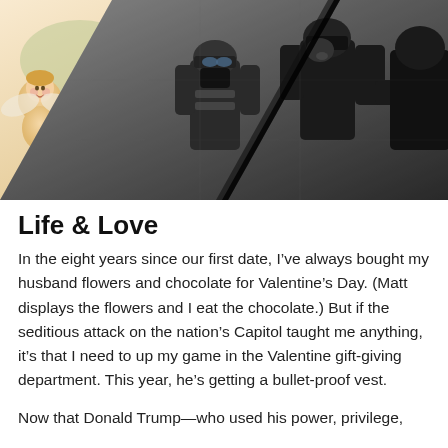[Figure (photo): Split composite image: left half shows a vintage Valentine's Day illustration with cherubs/cupids holding red hearts on a warm-toned background; right half shows a black-and-white photo of tactical/riot police officers in helmets and gear.]
Life & Love
In the eight years since our first date, I've always bought my husband flowers and chocolate for Valentine's Day. (Matt displays the flowers and I eat the chocolate.) But if the seditious attack on the nation's Capitol taught me anything, it's that I need to up my game in the Valentine gift-giving department. This year, he's getting a bullet-proof vest.
Now that Donald Trump—who used his power, privilege,